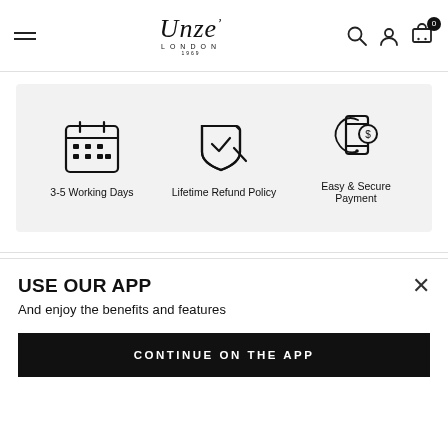Unze London — navigation header with hamburger menu, logo, search, account, and cart icons
[Figure (infographic): Three feature icons on grey background: calendar icon (3-5 Working Days), shield/checkmark icon (Lifetime Refund Policy), mobile payment icon (Easy & Secure Payment)]
3-5 Working Days
Lifetime Refund Policy
Easy & Secure Payment
PEOPLE WHO VIEW ALSO VIEW
USE OUR APP
And enjoy the benefits and features
CONTINUE ON THE APP